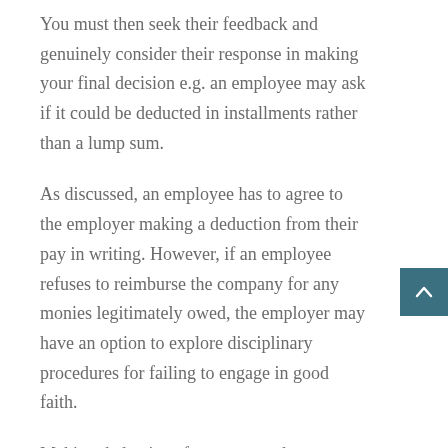You must then seek their feedback and genuinely consider their response in making your final decision e.g. an employee may ask if it could be deducted in installments rather than a lump sum.
As discussed, an employee has to agree to the employer making a deduction from their pay in writing. However, if an employee refuses to reimburse the company for any monies legitimately owed, the employer may have an option to explore disciplinary procedures for failing to engage in good faith.
Making deductions from pay can be